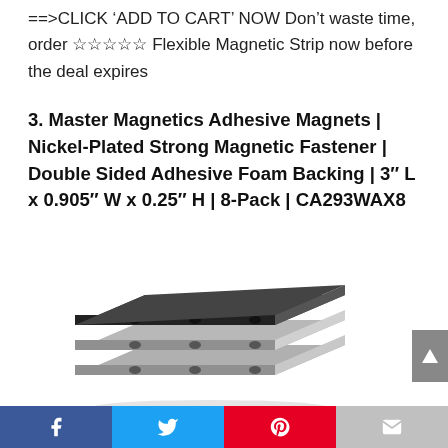==>CLICK ‘ADD TO CART’ NOW Don’t waste time, order ☆☆☆☆☆ Flexible Magnetic Strip now before the deal expires
3. Master Magnetics Adhesive Magnets | Nickel-Plated Strong Magnetic Fastener | Double Sided Adhesive Foam Backing | 3″ L x 0.905″ W x 0.25″ H | 8-Pack | CA293WAX8
[Figure (photo): Photo of stacked rectangular adhesive magnetic strips with small holes, metallic silver color, viewed at an angle]
Facebook | Twitter | Pinterest | Email